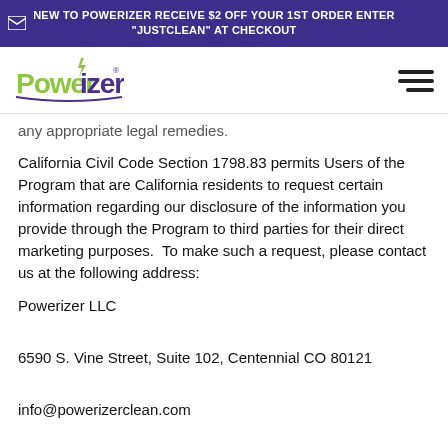NEW TO POWERIZER RECEIVE $2 OFF YOUR 1ST ORDER ENTER "JUSTCLEAN" AT CHECKOUT
[Figure (logo): Powerizer logo with green and yellow text and green lightning bolt]
any appropriate legal remedies.
California Civil Code Section 1798.83 permits Users of the Program that are California residents to request certain information regarding our disclosure of the information you provide through the Program to third parties for their direct marketing purposes.  To make such a request, please contact us at the following address:
Powerizer LLC
6590 S. Vine Street, Suite 102, Centennial CO 80121
info@powerizerclean.com
This Privacy Policy is strictly limited to the Program and has no effect on any other privacy policy(ies) that may